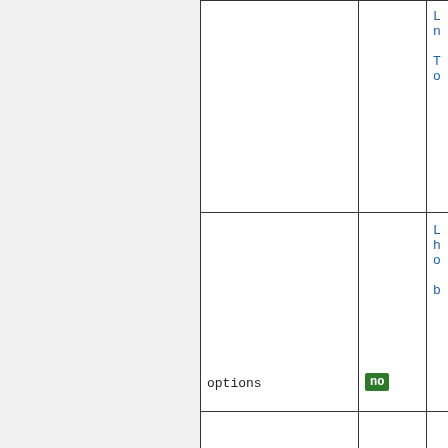| name | required | description |
| --- | --- | --- |
|  | no |  |
| options | no | L h o b |
| use_tls | no |  |